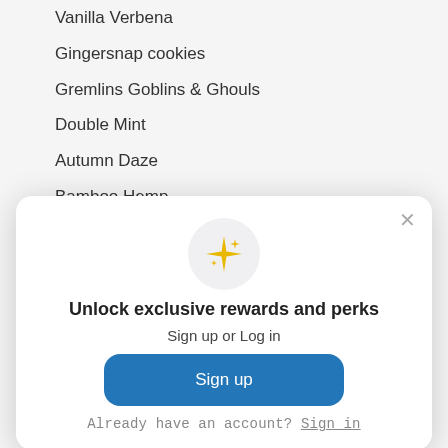Vanilla Verbena
Gingersnap cookies
Gremlins Goblins & Ghouls
Double Mint
Autumn Daze
Bamboo Hemp
Cannabis Flower
Snowball Fight
[Figure (screenshot): Modal dialog with sparkle icon, heading 'Unlock exclusive rewards and perks', subheading 'Sign up or Log in', blue Sign up button, and 'Already have an account? Sign in' link]
Unlock exclusive rewards and perks
Sign up or Log in
Sign up
Already have an account? Sign in